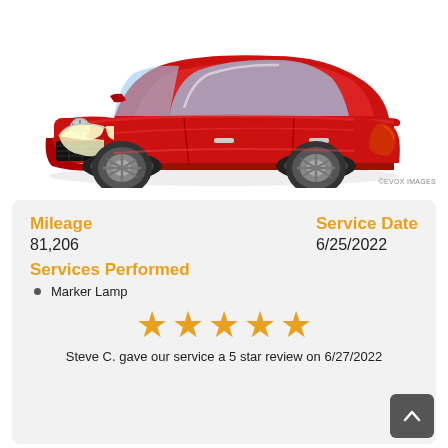[Figure (photo): Red Mercedes-Benz sedan photographed from front-left angle on white background]
©EVOX IMAGES
Mileage
81,206
Service Date
6/25/2022
Services Performed
Marker Lamp
[Figure (other): Five gold star rating icons]
Steve C. gave our service a 5 star review on 6/27/2022